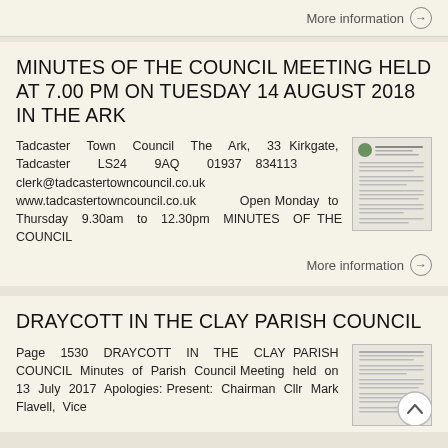More information →
MINUTES OF THE COUNCIL MEETING HELD AT 7.00 PM ON TUESDAY 14 AUGUST 2018 IN THE ARK
Tadcaster Town Council The Ark, 33 Kirkgate, Tadcaster LS24 9AQ 01937 834113 clerk@tadcastertowncouncil.co.uk www.tadcastertowncouncil.co.uk Open Monday to Thursday 9.30am to 12.30pm MINUTES OF THE COUNCIL
More information →
DRAYCOTT IN THE CLAY PARISH COUNCIL
Page 1530 DRAYCOTT IN THE CLAY PARISH COUNCIL Minutes of Parish Council Meeting held on 13 July 2017 Apologies: Present: Chairman Cllr Mark Flavell, Vice